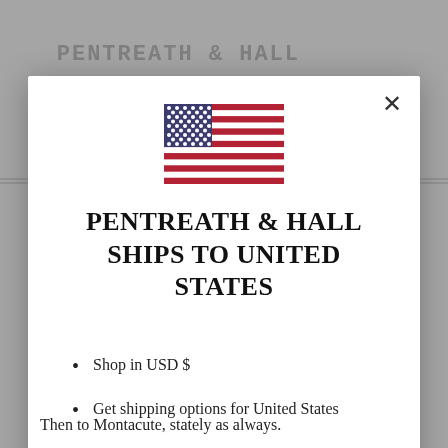[Figure (screenshot): Modal dialog on a website for Pentreath & Hall showing US flag, title text, bullet points, Shop now button, and Change shipping country link over a dimmed background]
PENTREATH & HALL SHIPS TO UNITED STATES
Shop in USD $
Get shipping options for United States
Shop now
Change shipping country
Then to Montacute, stately as always.